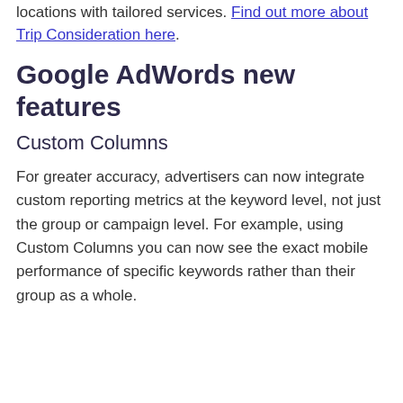locations with tailored services. Find out more about Trip Consideration here.
Google AdWords new features
Custom Columns
For greater accuracy, advertisers can now integrate custom reporting metrics at the keyword level, not just the group or campaign level. For example, using Custom Columns you can now see the exact mobile performance of specific keywords rather than their group as a whole.